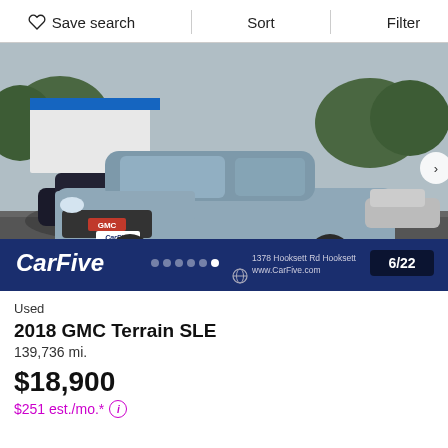Save search  Sort  Filter
[Figure (photo): Photo of a gray 2018 GMC Terrain SLE SUV in a dealership lot. A CarFive logo banner overlays the bottom of the image with dealership address '1378 Hooksett Rd Hooksett' and website 'www.CarFive.com'. Photo counter shows 6/22.]
Used
2018 GMC Terrain SLE
139,736 mi.
$18,900
$251 est./mo.*